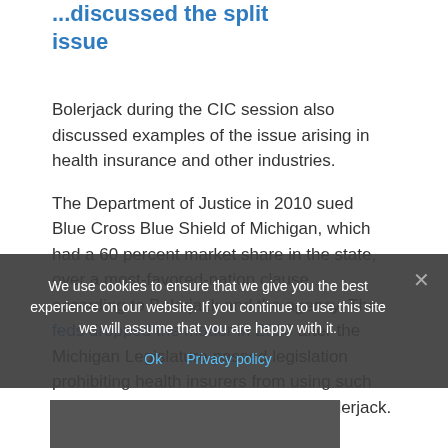...discussed the split issue
Bolerjack during the CIC session also discussed examples of the issue arising in health insurance and other industries.
The Department of Justice in 2010 sued Blue Cross Blue Shield of Michigan, which had a 60 percent market share in the state, over a most-favored-nation clause, according to Bolerjack and the agency. The feds dropped the matter in 2013 after the Michigan Legislature passed legislation prohibiting health insurers from using such clauses, according to the DOJ and Bolerjack.
[Figure (photo): Bottom strip showing partial photo, obscured by cookie overlay]
We use cookies to ensure that we give you the best experience on our website. If you continue to use this site we will assume that you are happy with it. Ok Privacy policy